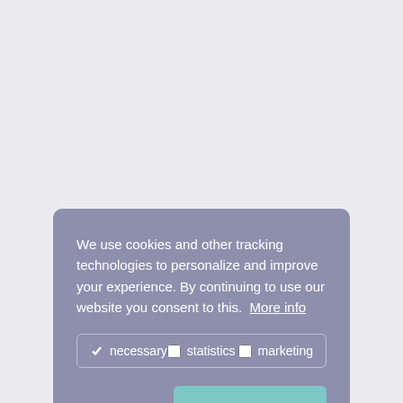We use cookies and other tracking technologies to personalize and improve your experience. By continuing to use our website you consent to this.  More info
necessary  statistics  marketing
decline
allow cookies